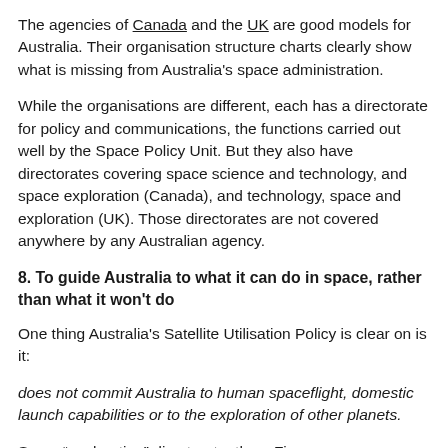The agencies of Canada and the UK are good models for Australia. Their organisation structure charts clearly show what is missing from Australia's space administration.
While the organisations are different, each has a directorate for policy and communications, the functions carried out well by the Space Policy Unit. But they also have directorates covering space science and technology, and space exploration (Canada), and technology, space and exploration (UK). Those directorates are not covered anywhere by any Australian agency.
8. To guide Australia to what it can do in space, rather than what it won't do
One thing Australia's Satellite Utilisation Policy is clear on is it:
does not commit Australia to human spaceflight, domestic launch capabilities or to the exploration of other planets.
So no “exploration” directorate, then. Fine.
But the space science and technology directorate is something we should aspire to. Combine it with the Space Policy Unit, and